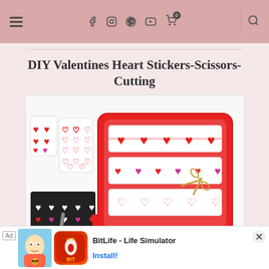Navigation bar with hamburger menu, social icons (Facebook, Instagram, Pinterest, YouTube), cart with 0 items, search
DIY Valentines Heart Stickers-Scissors-Cutting
[Figure (photo): Photo of DIY Valentines heart stickers craft materials: red tray with printed heart sticker sheets and scissors, sticker sheets with hearts, black card with white and pink hearts, marker]
HERE see a VIDEO ~ DIY Valentines Heart
[Figure (screenshot): Advertisement banner: Ad label, BitLife character illustration, BitLife app icon in red/orange, text 'BitLife - Life Simulator', Install button link]